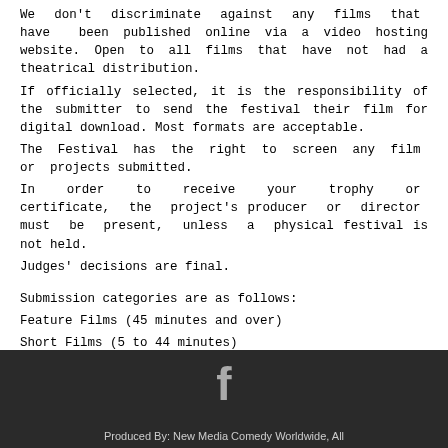We don't discriminate against any films that have been published online via a video hosting website. Open to all films that have not had a theatrical distribution.
If officially selected, it is the responsibility of the submitter to send the festival their film for digital download. Most formats are acceptable.
The Festival has the right to screen any film or projects submitted.
In order to receive your trophy or certificate, the project's producer or director must be present, unless a physical festival is not held.
Judges' decisions are final.
Submission categories are as follows:
Feature Films (45 minutes and over)
Short Films (5 to 44 minutes)
Super-Short Films (61 seconds to 5 minutes)
Ultra-Short Films (up to 60 seconds, including opening and closing credits.) – *This category is NOT eligible for the Best Film of the Festival Award.
Produced By: New Media Comedy Worldwide, All